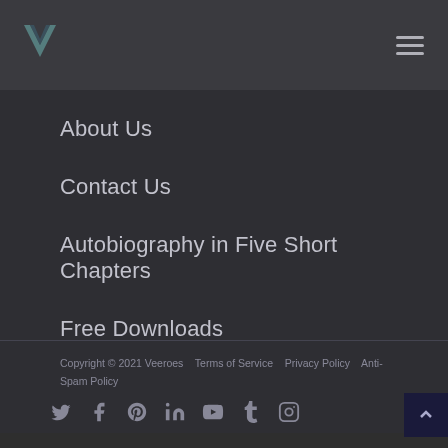[Figure (logo): Veeroes logo: a teal/dark V chevron mark]
About Us
Contact Us
Autobiography in Five Short Chapters
Free Downloads
Copyright © 2021 Veeroes    Terms of Service    Privacy Policy    Anti-Spam Policy
[Figure (infographic): Social media icons row: Twitter, Facebook, Pinterest, LinkedIn, YouTube, Tumblr, Instagram]